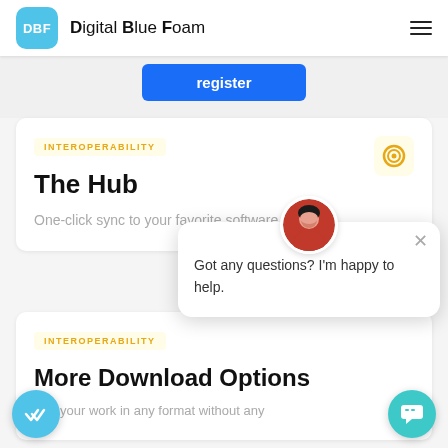DBF Digital Blue Foam
[Figure (screenshot): Blue register button partially visible]
INTEROPERABILITY
The Hub
One-click sync to your favorite software.
INTEROPERABILITY
More Download Options
port your work in any format without any
Got any questions? I'm happy to help.